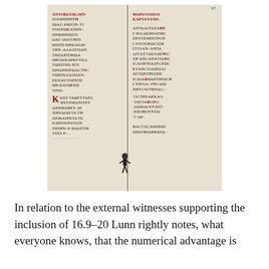[Figure (photo): A scanned page of a Greek manuscript showing two columns of ancient Greek text in minuscule script, with some red/rubricated letters. The manuscript appears aged with a brownish background. A small figure illustration appears near the bottom center.]
In relation to the external witnesses supporting the inclusion of 16.9-20 Lunn rightly notes, what everyone knows, that the numerical advantage is